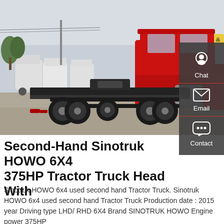[Figure (photo): Photograph of a red Sinotruk HOWO 6x4 tractor truck head viewed from the rear-left angle in a truck yard, with multiple white trucks in the background.]
Second-Hand Sinotruk HOWO 6X4 375HP Tractor Truck Head With
Sinotruk HOWO 6x4 used second hand Tractor Truck. Sinotruk HOWO 6x4 used second hand Tractor Truck Production date : 2015 year Driving type LHD/ RHD 6X4 Brand SINOTRUK HOWO Engine power 375HP